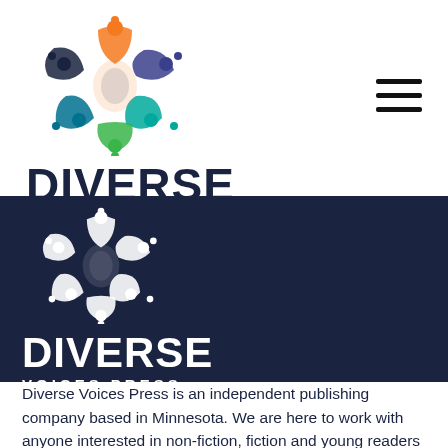[Figure (logo): Diverse Voices Press color logo with mandala-like figure made of people silhouettes in orange, blue, teal, purple, green colors above the text DIVERSE VOICES PRESS]
[Figure (logo): Diverse Voices Press white/monochrome logo on dark navy background with mandala-like figure and text DIVERSE VOICES PRESS]
Diverse Voices Press is an independent publishing company based in Minnesota. We are here to work with anyone interested in non-fiction, fiction and young readers books that appeal to all readers.